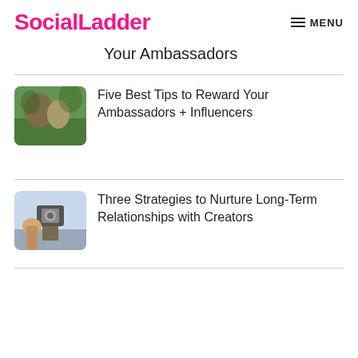SocialLadder  MENU
Your Ambassadors
[Figure (photo): Two people sitting outdoors among trees, wearing casual clothes]
Five Best Tips to Reward Your Ambassadors + Influencers
[Figure (photo): Person with a camera on a tripod, lifestyle/content creator setting]
Three Strategies to Nurture Long-Term Relationships with Creators